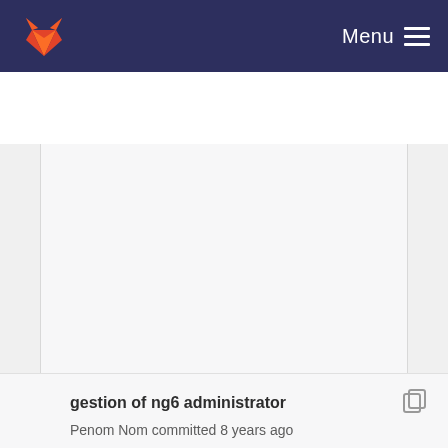Menu
[Figure (screenshot): GitLab repository page with empty main content area showing a large white/light gray panel]
gestion of ng6 administrator
Penom Nom committed 8 years ago